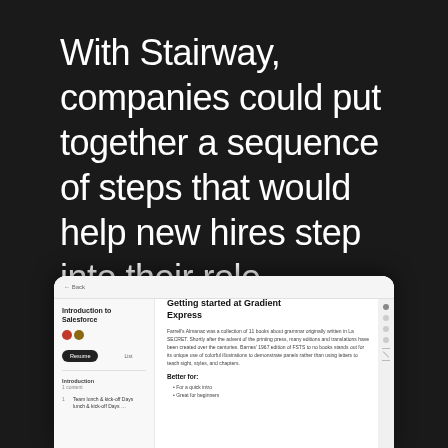With Stairway, companies could put together a sequence of steps that would help new hires step into their role.
[Figure (screenshot): Screenshot of a web application showing an onboarding tool. Left sidebar shows 'Introduction to Salesforce' with user avatars and a 'Resume' button. Main panel shows 'Getting started at Gradient Express' with descriptive text and 'Better for:' section with bullet points. Right side has icon navigation.]